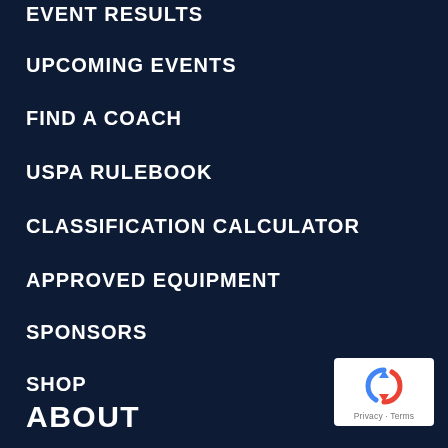EVENT RESULTS
UPCOMING EVENTS
FIND A COACH
USPA RULEBOOK
CLASSIFICATION CALCULATOR
APPROVED EQUIPMENT
SPONSORS
SHOP
ABOUT
[Figure (logo): reCAPTCHA badge with Privacy and Terms links]